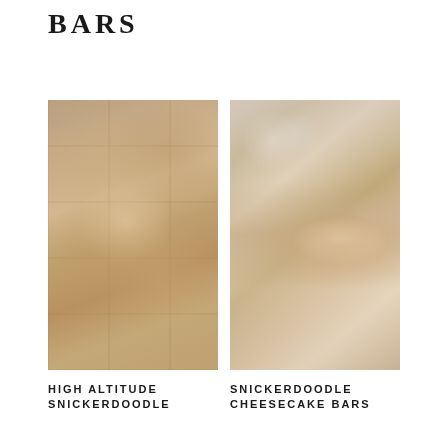BARS
[Figure (photo): Overhead view of multiple snickerdoodle bars cut into squares, coated with cinnamon sugar, arranged on a white surface with some bars flipped on their sides revealing a pale interior]
[Figure (photo): Snickerdoodle cheesecake bars stacked and arranged on a white marble board, showing distinct layers of cookie base, cheesecake filling, and crumble topping, with a spoon nearby and milk glasses in the background]
HIGH ALTITUDE SNICKERDOODLE
SNICKERDOODLE CHEESECAKE BARS